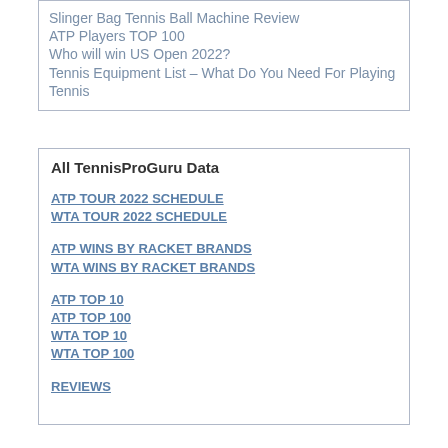Slinger Bag Tennis Ball Machine Review
ATP Players TOP 100
Who will win US Open 2022?
Tennis Equipment List – What Do You Need For Playing Tennis
All TennisProGuru Data
ATP TOUR 2022 SCHEDULE
WTA TOUR 2022 SCHEDULE
ATP WINS BY RACKET BRANDS
WTA WINS BY RACKET BRANDS
ATP TOP 10
ATP TOP 100
WTA TOP 10
WTA TOP 100
REVIEWS